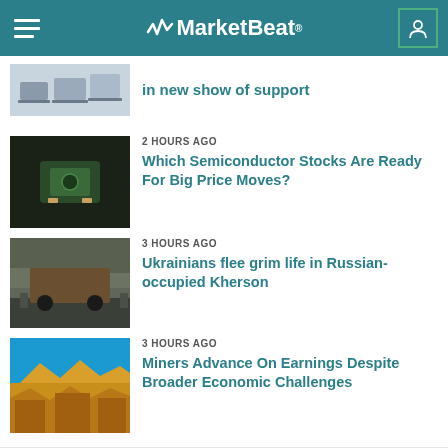MarketBeat
in new show of support
2 HOURS AGO
Which Semiconductor Stocks Are Ready For Big Price Moves?
3 HOURS AGO
Ukrainians flee grim life in Russian-occupied Kherson
3 HOURS AGO
Miners Advance On Earnings Despite Broader Economic Challenges
3 HOURS AGO
Gas-powered muscle cars drive into the sunset, turn electric